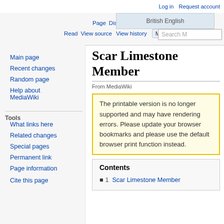Log in  Request account
PageDiscussion  British English  Read View source View history  More  Search M
Scar Limestone Member
From MediaWiki
The printable version is no longer supported and may have rendering errors. Please update your browser bookmarks and please use the default browser print function instead.
Contents
1  Scar Limestone Member
Main page
Recent changes
Random page
Help about MediaWiki
Tools
What links here
Related changes
Special pages
Permanent link
Page information
Cite this page